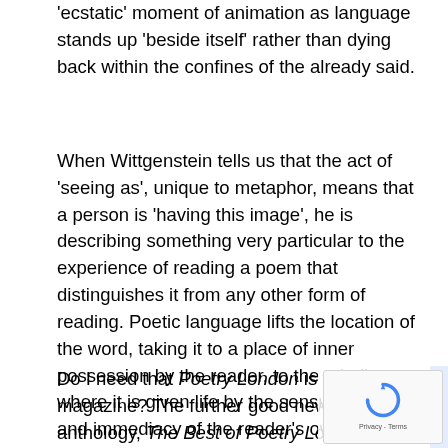'ecstatic' moment of animation as language stands up 'beside itself' rather than dying back within the confines of the already said.
When Wittgenstein tells us that the act of 'seeing as', unique to metaphor, means that a person is 'having this image', he is describing something very particular to the experience of reading a poem that distinguishes it from any other form of reading. Poetic language lifts the location of the word, taking it to a place of inner possession by the reader, to the mind's eye where it is given life by the sensuousness and immediacy of the reader's own experience. In this way (to return to the Penelope Fitzgerald story I began with) 'You are alive, I am alive' is the reciprocal discovery which a poem is uniquely able to place within the pages of a magazine.
Do I need that Poetry London is that very magazine? The further good news is that an anthology, The Best of Poetry London, is coming out from Carcanet this summer to celebrate our 25 years of publication. Keep your eyes peeled.